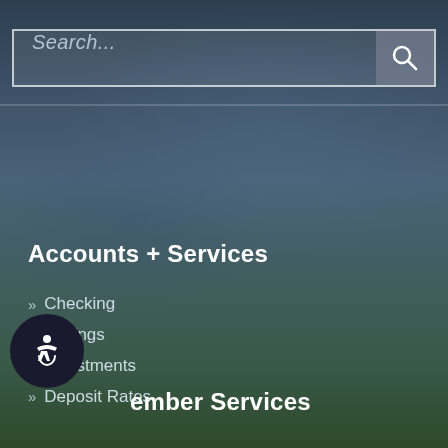[Figure (screenshot): Search bar with placeholder text 'Search...' and a search icon button on a dark blue-grey background]
Accounts + Services
» Checking
» Savings
» Investments
» Deposit Rates
ember Services
» Account Balancing
» Check Recording